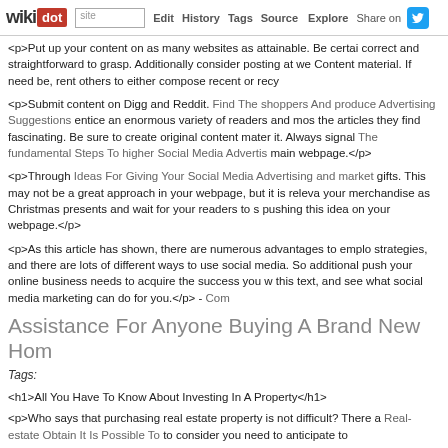wikidot | site | Edit | History | Tags | Source | Explore | Share on
<p>Put up your content on as many websites as attainable. Be certain correct and straightforward to grasp. Additionally consider posting at we Content material. If need be, rent others to either compose recent or recye
<p>Submit content on Digg and Reddit. Find The shoppers And produce Advertising Suggestions entice an enormous variety of readers and most the articles they find fascinating. Be sure to create original content materi it. Always signal The fundamental Steps To higher Social Media Advertisi main webpage.</p>
<p>Through Ideas For Giving Your Social Media Advertising and marketi gifts. This may not be a great approach in your webpage, but it is relevan your merchandise as Christmas presents and wait for your readers to s pushing this idea on your webpage.</p>
<p>As this article has shown, there are numerous advantages to employ strategies, and there are lots of different ways to use social media. Soc additional push your online business needs to acquire the success you w this text, and see what social media marketing can do for you.</p> - Com
Assistance For Anyone Buying A Brand New Hom
Tags:
<h1>All You Have To Know About Investing In A Property</h1>
<p>Who says that purchasing real estate property is not difficult? There a Real-estate Obtain It Is Possible To to consider you need to anticipate to